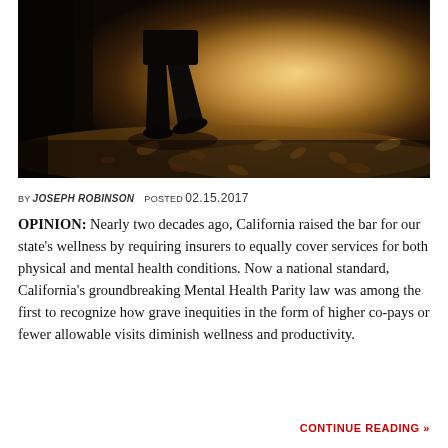[Figure (photo): Outdoor autumn scene with a person's legs and feet walking on a path covered with fallen leaves, with warm golden sunlight filtering through.]
BY JOSEPH ROBINSON   POSTED 02.15.2017
OPINION: Nearly two decades ago, California raised the bar for our state's wellness by requiring insurers to equally cover services for both physical and mental health conditions. Now a national standard, California's groundbreaking Mental Health Parity law was among the first to recognize how grave inequities in the form of higher co-pays or fewer allowable visits diminish wellness and productivity.
CONTINUE READING »